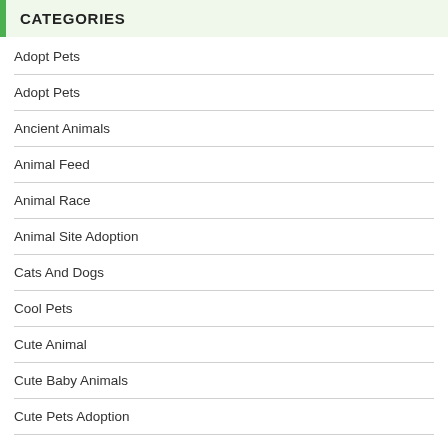CATEGORIES
Adopt Pets
Adopt Pets
Ancient Animals
Animal Feed
Animal Race
Animal Site Adoption
Cats And Dogs
Cool Pets
Cute Animal
Cute Baby Animals
Cute Pets Adoption
Dog Grooming